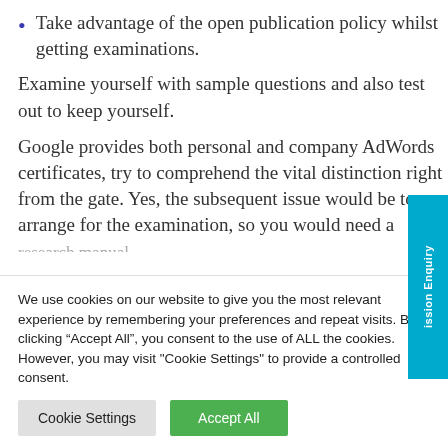Take advantage of the open publication policy whilst getting examinations.
Examine yourself with sample questions and also test out to keep yourself.
Google provides both personal and company AdWords certificates, try to comprehend the vital distinction right from the gate. Yes, the subsequent issue would be to arrange for the examination, so you would need a research manual.
We use cookies on our website to give you the most relevant experience by remembering your preferences and repeat visits. By clicking “Accept All”, you consent to the use of ALL the cookies. However, you may visit "Cookie Settings" to provide a controlled consent.